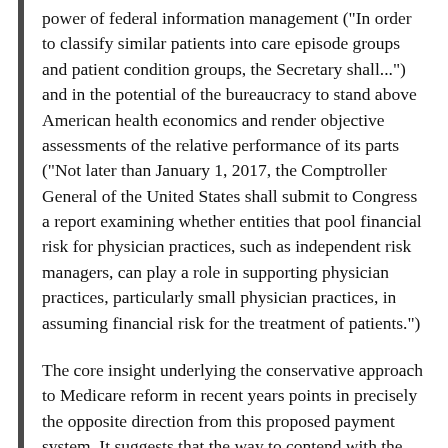power of federal information management ("In order to classify similar patients into care episode groups and patient condition groups, the Secretary shall...") and in the potential of the bureaucracy to stand above American health economics and render objective assessments of the relative performance of its parts ("Not later than January 1, 2017, the Comptroller General of the United States shall submit to Congress a report examining whether entities that pool financial risk for physician practices, such as independent risk managers, can play a role in supporting physician practices, particularly small physician practices, in assuming financial risk for the treatment of patients.")
The core insight underlying the conservative approach to Medicare reform in recent years points in precisely the opposite direction from this proposed payment system. It suggests that the way to contend with the unavoidable complexity of health economics in a free society is not to